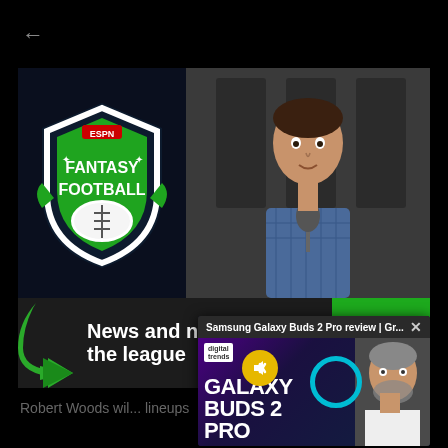[Figure (screenshot): Back navigation arrow in top-left on black background]
[Figure (screenshot): ESPN Fantasy Football show screenshot: left side shows ESPN Fantasy Football shield logo on dark background, right side shows male host at radio/podcast studio desk with microphone. Lower bar has green arrow graphic and white text 'News and notes around the league' with ESPN FANTASY green badge at right.]
Robert Woods wil... lineups
[Figure (screenshot): Picture-in-picture overlay: Samsung Galaxy Buds 2 Pro review video from Digital Trends showing large white text 'GALAXY BUDS 2 PRO' with teal ring holding earbuds, male presenter on right, mute button visible. Header bar reads 'Samsung Galaxy Buds 2 Pro review | Gr...' with X close button.]